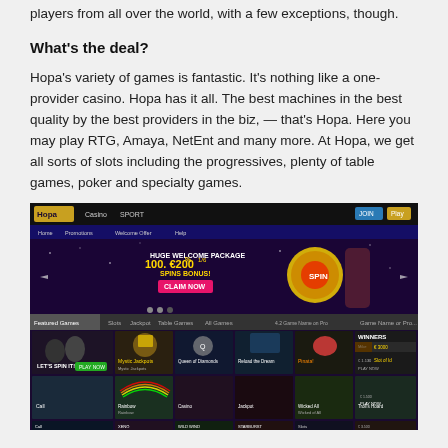players from all over the world, with a few exceptions, though.
What's the deal?
Hopa's variety of games is fantastic. It's nothing like a one-provider casino. Hopa has it all. The best machines in the best quality by the best providers in the biz, — that's Hopa. Here you may play RTG, Amaya, NetEnt and many more. At Hopa, we get all sorts of slots including the progressives, plenty of table games, poker and specialty games.
[Figure (screenshot): Screenshot of Hopa online casino website showing the casino lobby with slot games, a welcome bonus banner reading '100% 1/6 €200 SPINS BONUS! CLAIM NOW', and a game grid featuring various slot machine games including Rainbow, Wild Wind, Starburst, and others. Navigation shows Casino, Slots, Jackpot, Table Games, All Games tabs.]